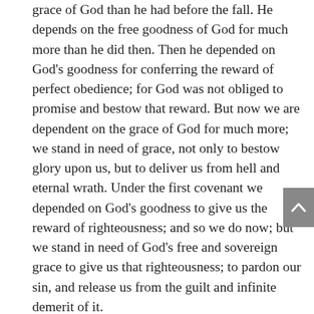grace of God than he had before the fall. He depends on the free goodness of God for much more than he did then. Then he depended on God's goodness for conferring the reward of perfect obedience; for God was not obliged to promise and bestow that reward. But now we are dependent on the grace of God for much more; we stand in need of grace, not only to bestow glory upon us, but to deliver us from hell and eternal wrath. Under the first covenant we depended on God's goodness to give us the reward of righteousness; and so we do now; but we stand in need of God's free and sovereign grace to give us that righteousness; to pardon our sin, and release us from the guilt and infinite demerit of it.